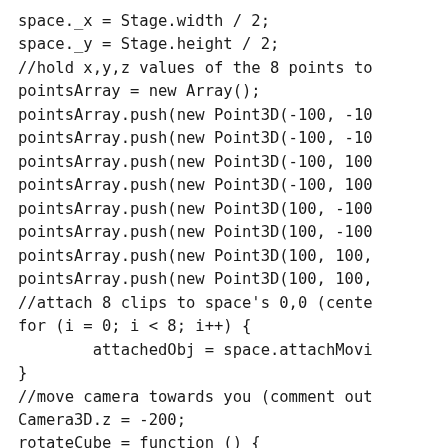space._x = Stage.width / 2;
space._y = Stage.height / 2;
//hold x,y,z values of the 8 points to
pointsArray = new Array();
pointsArray.push(new Point3D(-100, -10
pointsArray.push(new Point3D(-100, -10
pointsArray.push(new Point3D(-100, 100
pointsArray.push(new Point3D(-100, 100
pointsArray.push(new Point3D(100, -100
pointsArray.push(new Point3D(100, -100
pointsArray.push(new Point3D(100, 100,
pointsArray.push(new Point3D(100, 100,
//attach 8 clips to space's 0,0 (cente
for (i = 0; i < 8; i++) {
        attachedObj = space.attachMovi
}
//move camera towards you (comment out
Camera3D.z = -200;
rotateCube = function () {